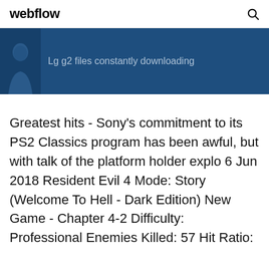webflow
[Figure (screenshot): Dark blue banner with user avatar silhouette on left and text 'Lg g2 files constantly downloading']
Greatest hits - Sony’s commitment to its PS2 Classics program has been awful, but with talk of the platform holder explo 6 Jun 2018 Resident Evil 4 Mode: Story (Welcome To Hell - Dark Edition) New Game - Chapter 4-2 Difficulty: Professional Enemies Killed: 57 Hit Ratio: